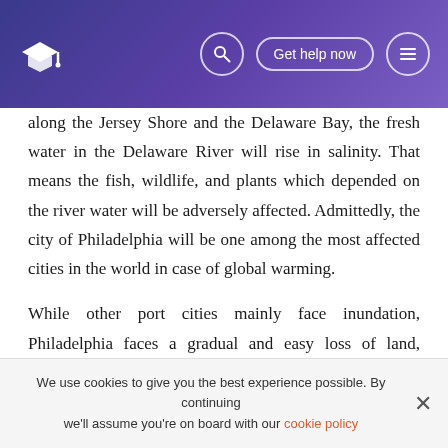along the Jersey Shore and the Delaware Bay, the fresh water in the Delaware River will rise in salinity. That means the fish, wildlife, and plants which depended on the river water will be adversely affected. Admittedly, the city of Philadelphia will be one among the most affected cities in the world in case of global warming.
While other port cities mainly face inundation, Philadelphia faces a gradual and easy loss of land, followed by easy loss ecological balance and sustainability.
References
We use cookies to give you the best experience possible. By continuing we'll assume you're on board with our cookie policy